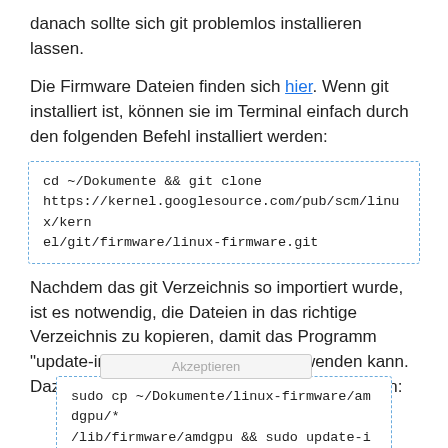danach sollte sich git problemlos installieren lassen.
Die Firmware Dateien finden sich hier. Wenn git installiert ist, können sie im Terminal einfach durch den folgenden Befehl installiert werden:
cd ~/Dokumente && git clone https://kernel.googlesource.com/pub/scm/linux/kernel/git/firmware/linux-firmware.git
Nachdem das git Verzeichnis so importiert wurde, ist es notwendig, die Dateien in das richtige Verzeichnis zu kopieren, damit das Programm "update-initramfs" sie finden und verwenden kann. Dazu einfach das folgende Kommando eingeben:
sudo cp ~/Dokumente/linux-firmware/amdgpu/* /lib/firmware/amdgpu && sudo update-initramfs -k all -u -v